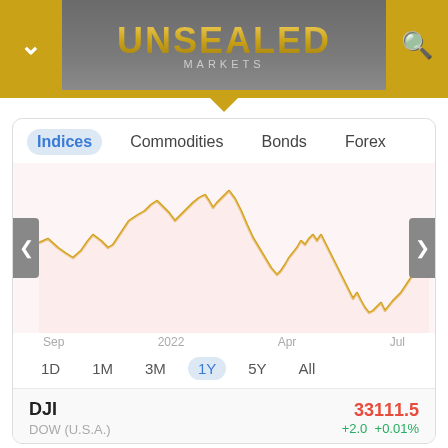UNSEALED MARKETS
[Figure (continuous-plot): 1-year line chart showing market index (gold/orange line) from Sep 2021 through Jul 2022 on a pink/white background. The line starts mid-range, rises to a peak around Jan 2022, then falls sharply through Jun 2022, then recovers slightly toward Jul 2022.]
Indices   Commodities   Bonds   Forex
Sep   2022   Apr   Jul
1D   1M   3M   1Y   5Y   All
| Index | Value | Change |
| --- | --- | --- |
| DJI | 33111.5 | +2.0  +0.01% |
| DOW (U.S.A.) |  |  |
| SPX500USD | 4142.8 |  |